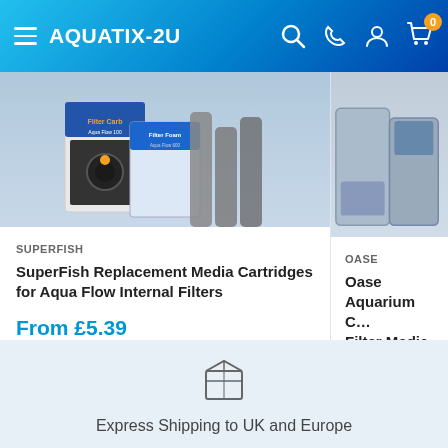AQUATIX-2U — navigation header with logo, search, phone, account, and cart icons
[Figure (photo): Product photo of SuperFish Replacement Media Cartridges for Aqua Flow Internal Filters packaging]
SUPERFISH
SuperFish Replacement Media Cartridges for Aqua Flow Internal Filters
From £5.39
In stock
[Figure (photo): Partial product photo of Oase Aquarium Canister Filter Media - 4510 (right card, partially cropped)]
OASE
Oase Aquarium C... Filter Media - 4510...
£8.69
In stock
[Figure (illustration): Box/package icon for Express Shipping]
Express Shipping to UK and Europe